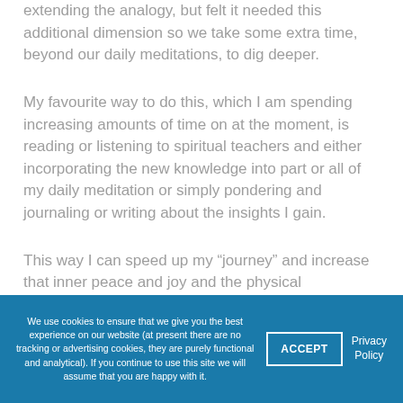extending the analogy, but felt it needed this additional dimension so we take some extra time, beyond our daily meditations, to dig deeper.
My favourite way to do this, which I am spending increasing amounts of time on at the moment, is reading or listening to spiritual teachers and either incorporating the new knowledge into part or all of my daily meditation or simply pondering and journaling or writing about the insights I gain.
This way I can speed up my “journey” and increase that inner peace and joy and the physical
We use cookies to ensure that we give you the best experience on our website (at present there are no tracking or advertising cookies, they are purely functional and analytical). If you continue to use this site we will assume that you are happy with it.